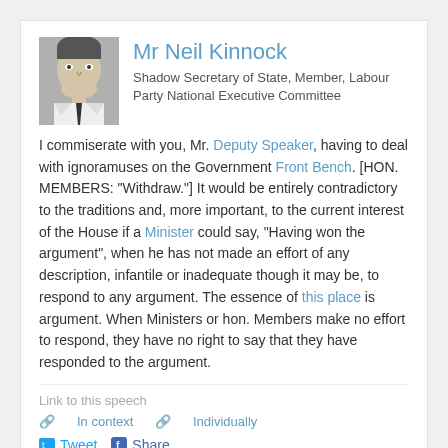Mr Neil Kinnock
Shadow Secretary of State, Member, Labour Party National Executive Committee
I commiserate with you, Mr. Deputy Speaker, having to deal with ignoramuses on the Government Front Bench. [HON. MEMBERS: "Withdraw."] It would be entirely contradictory to the traditions and, more important, to the current interest of the House if a Minister could say, "Having won the argument", when he has not made an effort of any description, infantile or inadequate though it may be, to respond to any argument. The essence of this place is argument. When Ministers or hon. Members make no effort to respond, they have no right to say that they have responded to the argument.
Link to this speech
In context   Individually
Tweet   Share
(Citation: HC Deb, 9 February 1983, c1098)